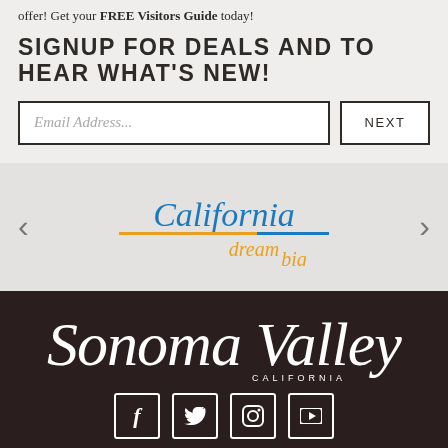offer! Get your FREE Visitors Guide today!
SIGNUP FOR DEALS AND TO HEAR WHAT'S NEW!
Email Address...
NEXT
[Figure (logo): California Dream Big logo with blue italic script text and orange/blue underline bar and orange italic 'dream big' text below]
[Figure (logo): Sonoma Valley California logo in white script cursive text on dark brown/black background with CALIFORNIA in small spaced caps below]
[Figure (other): Four social media icon buttons (Facebook, Twitter, Instagram, YouTube) in white outline squares on dark background]